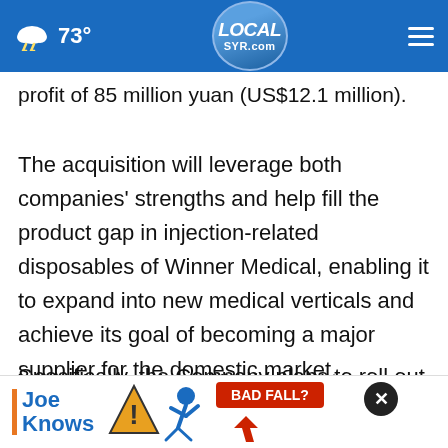73° LOCAL SYR.com
profit of 85 million yuan (US$12.1 million).
The acquisition will leverage both companies' strengths and help fill the product gap in injection-related disposables of Winner Medical, enabling it to expand into new medical verticals and achieve its goal of becoming a major supplier for the domestic market.
Specifically, the Company plans to roll out medical sets that comprise needle-type products that are (continuing for Winner Medical providing...)